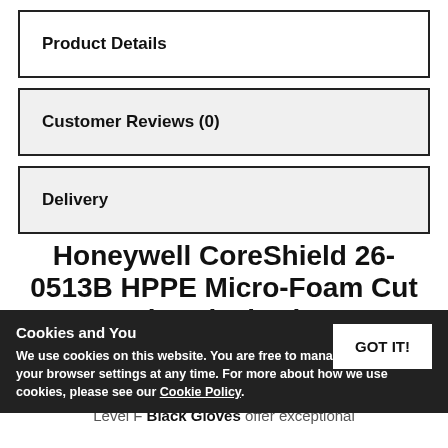Product Details
Customer Reviews (0)
Delivery
Honeywell CoreShield 26-0513B HPPE Micro-Foam Cut Level F Black Gloves
Cookies and You
We use cookies on this website. You are free to manage these via your browser settings at any time. For more about how we use cookies, please see our Cookie Policy.
GOT IT!
The Honeywell CoreShield 26-0513B HPPE Micro-Foam Cut Level F Black Gloves offer exceptional